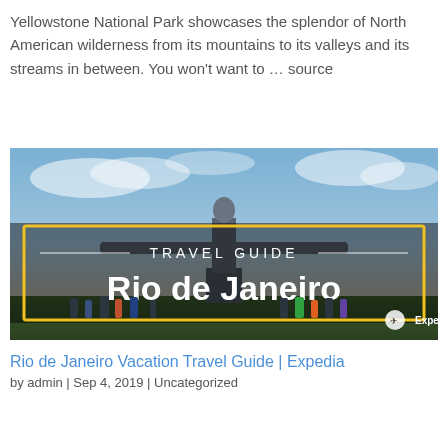Yellowstone National Park showcases the splendor of North American wilderness from its mountains to its valleys and its streams in between. You won't want to ... source
[Figure (photo): Travel guide thumbnail image for Rio de Janeiro showing Christ the Redeemer statue with outstretched arms against a cloudy sky, with a yellow-bordered overlay text box reading 'TRAVEL GUIDE' and 'Rio de Janeiro', and the Expedia logo in the bottom right corner. Tourists visible at the statue base.]
Rio de Janeiro Vacation Travel Guide | Expedia
by admin | Sep 4, 2019 | Uncategorized